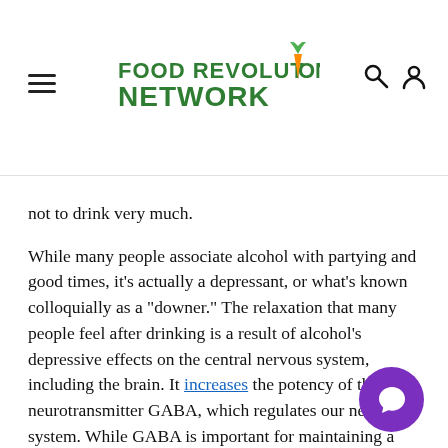Food Revolution Network — navigation header with logo, hamburger menu, search and account icons
responsible for this task is called acetaldehyde dehydrogenase. Some people have a gene that produces a sluggish enzyme. Folks with slow ALDH do not have a good time with alcohol and tend not to drink very much.
While many people associate alcohol with partying and good times, it's actually a depressant, or what's known colloquially as a "downer." The relaxation that many people feel after drinking is a result of alcohol's depressive effects on the central nervous system, including the brain. It increases the potency of the neurotransmitter GABA, which regulates our nervous system. While GABA is important for maintaining a positive mood during times of stress, alcohol can enhance GABA's effect to the point of impairment. In addition to slowing down involuntary bodily functions, excess alcohol can cause us to slur our speech, walk unsteadily, and think irrationally, as well as preventing us from reacting quickly (which is a major problem for things